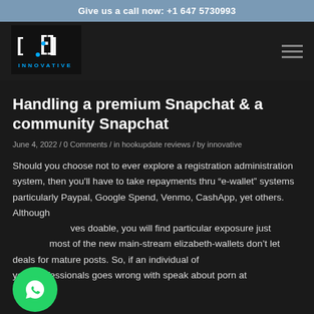Give us a call now: +1 647 5730993
[Figure (logo): Innovative company logo with bracket symbol and blue dots, white text INNOVATIVE below]
Handling a premium Snapchat & a community Snapchat
June 4, 2022 / 0 Comments / in hookupdate reviews / by innovative
Should you choose not to ever explore a registration administration system, then you'll have to take repayments thru “e-wallet” systems particularly Paypal, Google Spend, Venmo, CashApp, yet others. Although ves doable, you will find particular exposure just most of the new main-stream elizabeth-wallets don’t let deals for mature posts. So, if an individual of your professionals goes wrong with speak about porn at